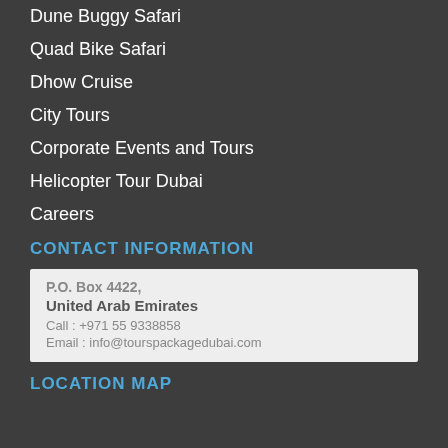Dune Buggy Safari
Quad Bike Safari
Dhow Cruise
City Tours
Corporate Events and Tours
Helicopter Tour Dubai
Careers
CONTACT INFORMATION
P.O. Box 4422, United Arab Emirates
Call : +971 55 9338858
Email : info@tourspackagedubai.com
LOCATION MAP